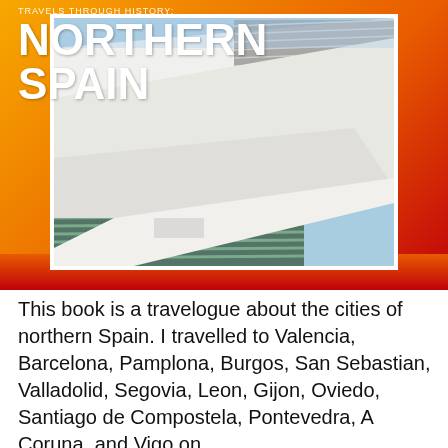[Figure (photo): Book cover: 'Travels Through History: Northern Spain'. Orange-red gradient background with white-bordered photo of modern architectural structure (white curved surfaces, louvered panels, glass building in background).]
This book is a travelogue about the cities of northern Spain. I travelled to Valencia, Barcelona, Pamplona, Burgos, San Sebastian, Valladolid, Segovia, Leon, Gijon, Oviedo, Santiago de Compostela, Pontevedra, A Coruna, and Vigo on